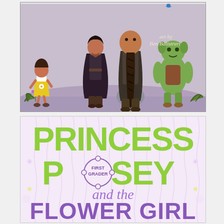[Figure (illustration): Illustration from a children's book showing cartoon fantasy characters walking: a small girl in a yellow dress, a tall figure in a dark cape, a large creature with braided hair, and a green monster/troll, set against a purple-grey fantasy landscape with rocks and flowers. Text reads 'art by Ben Balistreri' in the upper right corner.]
[Figure (illustration): Book cover for 'Princess Posey First Grader and the Flower Girl'. Pink background with wavy stripe pattern. 'PRINCESS' and 'POSEY' in large lime green bold letters, with a circular badge reading 'FIRST GRADER' replacing the O in POSEY. 'and the' in purple italic script. 'FLOWER GIRL' in large purple bold letters.]